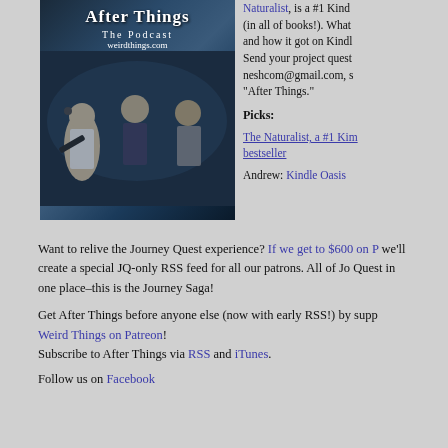[Figure (photo): After Things The Podcast weirdthings.com podcast cover image with three men in dark/spooky setting]
Naturalist, is a #1 Kindle (in all of books!). What and how it got on Kindle. Send your project quest neshcom@gmail.com, s "After Things."
Picks:
The Naturalist, a #1 Kindle bestseller
Andrew: Kindle Oasis
Want to relive the Journey Quest experience? If we get to $600 on P we'll create a special JQ-only RSS feed for all our patrons. All of Jo Quest in one place–this is the Journey Saga!
Get After Things before anyone else (now with early RSS!) by supp Weird Things on Patreon! Subscribe to After Things via RSS and iTunes.
Follow us on Facebook